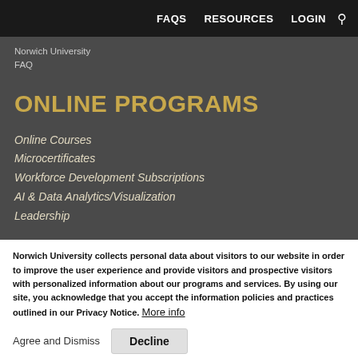FAQS   RESOURCES   LOGIN   🔍
Norwich University
FAQ
ONLINE PROGRAMS
Online Courses
Microcertificates
Workforce Development Subscriptions
AI & Data Analytics/Visualization
Leadership
Norwich University collects personal data about visitors to our website in order to improve the user experience and provide visitors and prospective visitors with personalized information about our programs and services. By using our site, you acknowledge that you accept the information policies and practices outlined in our Privacy Notice. More info
Agree and Dismiss   Decline